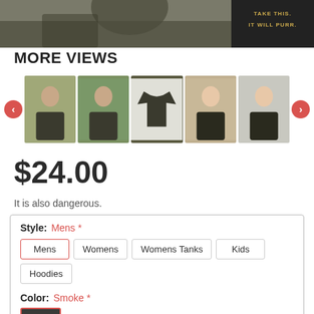[Figure (photo): Top banner: person wearing dark t-shirt on left, dark advertisement panel on right with text TAKE THIS. IT WILL PURR.]
MORE VIEWS
[Figure (photo): Row of 5 product thumbnail images showing people wearing the t-shirt and the shirt itself, with left and right navigation arrows]
$24.00
It is also dangerous.
Style: Mens *
Mens | Womens | Womens Tanks | Kids | Hoodies
Color: Smoke *